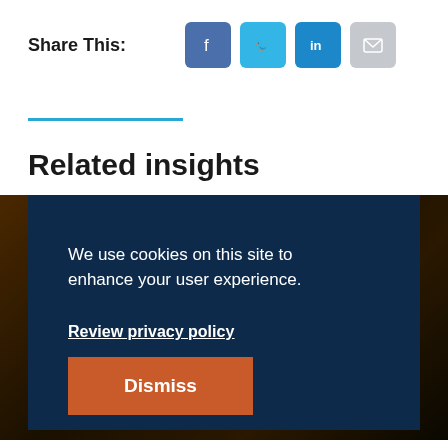Share This:
[Figure (infographic): Social share buttons: Facebook (blue), Twitter (cyan), LinkedIn (blue), Email (grey)]
Related insights
[Figure (screenshot): Cookie consent overlay on dark blue background with city lights image behind. Text: 'We use cookies on this site to enhance your user experience.' Link: 'Review privacy policy'. Button: 'Dismiss']
LTAF or Having a Laugh? →